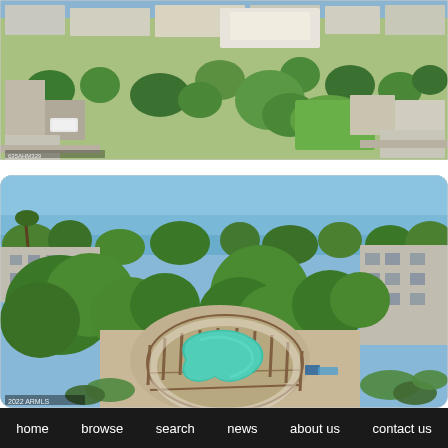[Figure (photo): Aerial view of a suburban neighborhood with flat-roofed buildings, trees, green lawns, and parking areas. Buildings appear to be commercial or mixed-use. A delivery van is visible in a parking lot.]
[Figure (photo): Aerial view of an apartment complex courtyard with a kidney-shaped swimming pool surrounded by a paved deck, fencing, lush green trees, and multi-story apartment buildings. Blue sky visible. Watermark '2022 ARMLS' in bottom left corner.]
home   browse   search   news   about us   contact us